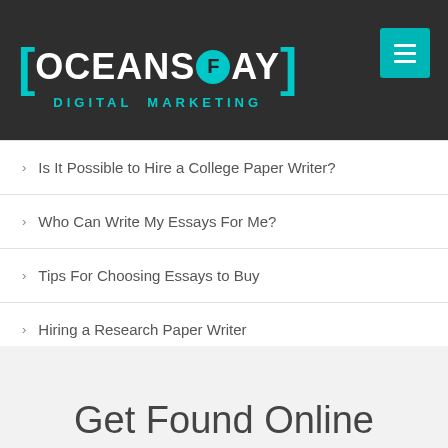[Figure (logo): Oceansfay Digital Marketing logo with teal brackets and circular F icon on dark background, with teal hamburger menu button]
Is It Possible to Hire a College Paper Writer?
Who Can Write My Essays For Me?
Tips For Choosing Essays to Buy
Hiring a Research Paper Writer
Hiring a Research Paper Writer
RECENT COMMENTS
Get Found Online